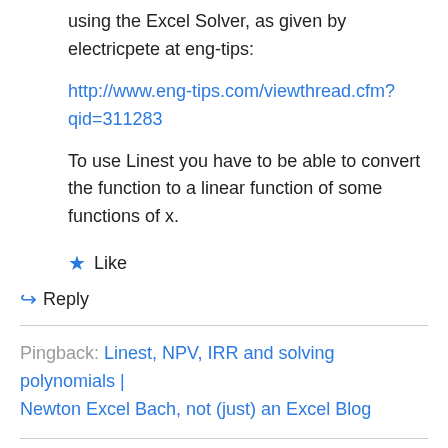using the Excel Solver, as given by electricpete at eng-tips:
http://www.eng-tips.com/viewthread.cfm?qid=311283
To use Linest you have to be able to convert the function to a linear function of some functions of x.
★ Like
↪ Reply
Pingback: Linest, NPV, IRR and solving polynomials | Newton Excel Bach, not (just) an Excel Blog
Gaurr on December 3, 2011 at 3:16 am